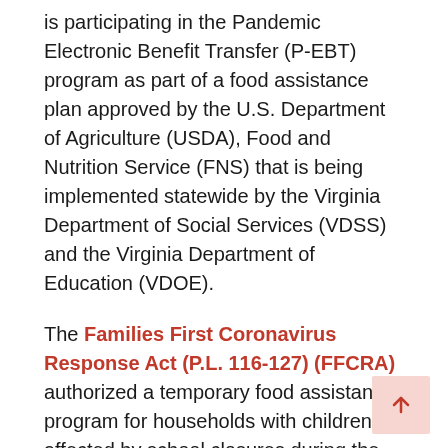is participating in the Pandemic Electronic Benefit Transfer (P-EBT) program as part of a food assistance plan approved by the U.S. Department of Agriculture (USDA), Food and Nutrition Service (FNS) that is being implemented statewide by the Virginia Department of Social Services (VDSS) and the Virginia Department of Education (VDOE).
The Families First Coronavirus Response Act (P.L. 116-127) (FFCRA) authorized a temporary food assistance program for households with children affected by school closures during the nationwide public health emergency. The Food and Nutrition Service accepted state plans for the P-EBT program and, pursuant to the authority granted under the FFCRA, FNS approved Virginia's P-EBT operational plan in late April.